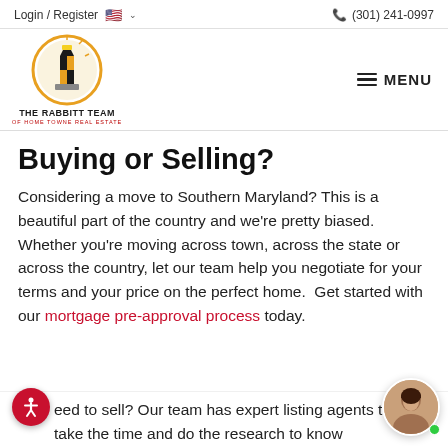Login / Register   🇺🇸 ∨   📞 (301) 241-0997
[Figure (logo): The Rabbitt Team of Home Towne Real Estate logo — lighthouse with Maryland flag colors inside a circular design, text 'THE RABBITT TEAM' and 'OF HOME TOWNE REAL ESTATE' below]
Buying or Selling?
Considering a move to Southern Maryland? This is a beautiful part of the country and we're pretty biased. Whether you're moving across town, across the state or across the country, let our team help you negotiate for your terms and your price on the perfect home.  Get started with our mortgage pre-approval process today.
eed to sell? Our team has expert listing agents that take the time and do the research to know